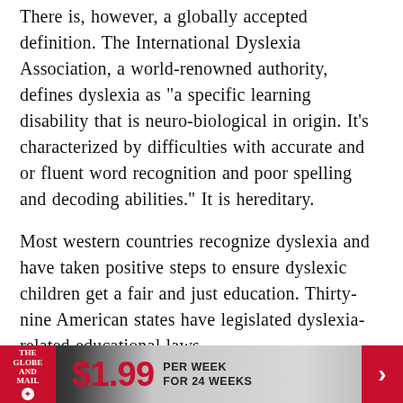There is, however, a globally accepted definition. The International Dyslexia Association, a world-renowned authority, defines dyslexia as "a specific learning disability that is neuro-biological in origin. It's characterized by difficulties with accurate and or fluent word recognition and poor spelling and decoding abilities." It is hereditary.
Most western countries recognize dyslexia and have taken positive steps to ensure dyslexic children get a fair and just education. Thirty-nine American states have legislated dyslexia-related educational laws.
Sadly, Canada stumbles along. Authorities here prefer to label children who have difficulty reading
[Figure (infographic): The Globe and Mail advertisement banner: logo on red background, $1.99 price in red, PER WEEK FOR 24 WEEKS text, red arrow button on right]